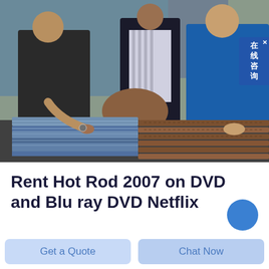[Figure (photo): Three people examining metal rebar and corrugated steel sheets outdoors. One person wearing a black jacket leans over the materials, a person in a dark coat stands in background, and a person in a blue jacket stands on the right. Construction materials including metal rods and corrugated sheets are in the foreground.]
Rent Hot Rod 2007 on DVD and Blu ray DVD Netflix
Get a Quote
Chat Now